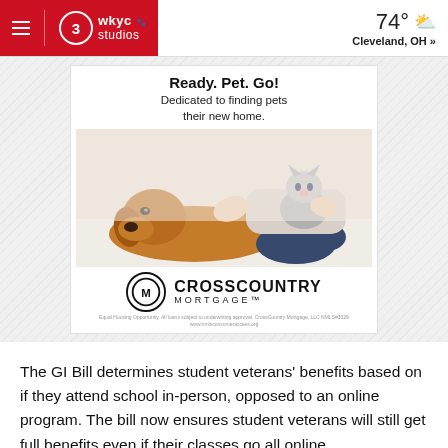3 WKYC Studios | 74° Cleveland, OH »
[Figure (photo): CrossCountry Mortgage advertisement featuring a golden retriever dog and a gray cat being pet by a person sitting on the floor. Ad text reads: Ready. Pet. Go! Dedicated to finding pets their new home. CrossCountry Mortgage logo below.]
The GI Bill determines student veterans' benefits based on if they attend school in-person, opposed to an online program. The bill now ensures student veterans will still get full benefits even if their classes go all online.